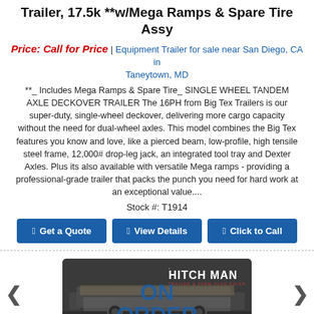Trailer, 17.5k **w/Mega Ramps & Spare Tire Assy
Price: Call for Price | Equipment Trailer for sale near San Diego, CA in Taneytown, MD
**_ Includes Mega Ramps & Spare Tire_ SINGLE WHEEL TANDEM AXLE DECKOVER TRAILER The 16PH from Big Tex Trailers is our super-duty, single-wheel deckover, delivering more cargo capacity without the need for dual-wheel axles. This model combines the Big Tex features you know and love, like a pierced beam, low-profile, high tensile steel frame, 12,000# drop-leg jack, an integrated tool tray and Dexter Axles. Plus its also available with versatile Mega ramps - providing a professional-grade trailer that packs the punch you need for hard work at an exceptional value....
Stock #: T1914
[Figure (screenshot): Trailer image with ON ORDER overlay and The Hitch Man logo, with left and right navigation arrows]